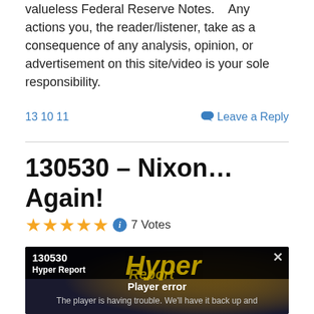valueless Federal Reserve Notes.    Any actions you, the reader/listener, take as a consequence of any analysis, opinion, or advertisement on this site/video is your sole responsibility.
13 10 11
Leave a Reply
130530 – Nixon… Again!
7 Votes
[Figure (screenshot): Embedded video player showing '130530 Hyper Report' with a player error message: 'Player error. The player is having trouble. We'll have it back up and']